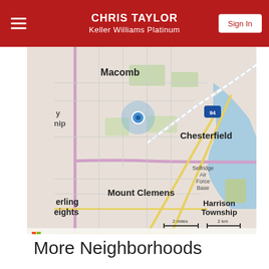CHRIS TAYLOR
Keller Williams Platinum
[Figure (map): Bing map showing Macomb, Chesterfield, Mount Clemens, Harrison Township, Selfridge Air Force Base, Sterling Heights area with a location pin marker, interstate 94, and scale bar showing 2 miles / 2 km. Attribution: Microsoft Bing, © 2022 TomTom, © 2022 Microsoft Corporation Terms]
More Neighborhoods